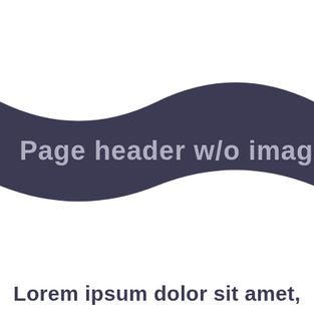[Figure (illustration): Decorative wavy banner with dark navy/purple background (#3d3b54) and white wave shapes creating two horizontal bands across the page. The text 'Page header w/o image' appears in light gray on the dark band.]
Page header w/o image
Lorem ipsum dolor sit amet,